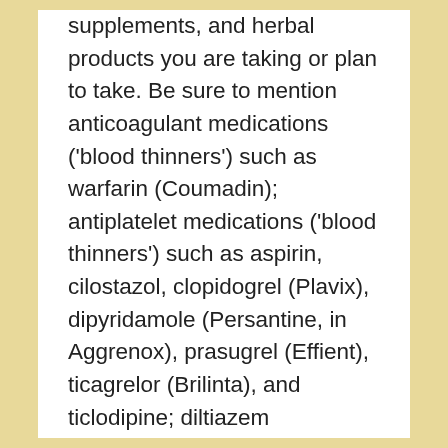supplements, and herbal products you are taking or plan to take. Be sure to mention anticoagulant medications ('blood thinners') such as warfarin (Coumadin); antiplatelet medications ('blood thinners') such as aspirin, cilostazol, clopidogrel (Plavix), dipyridamole (Persantine, in Aggrenox), prasugrel (Effient), ticagrelor (Brilinta), and ticlodipine; diltiazem (Cardizem, Cartia, Diltzac, others); erythromycin (E.E.S., Eryc, Erythrocin, others); fluconazole